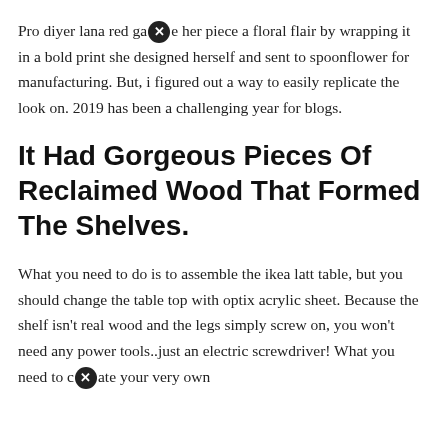Pro diyer lana red gave her piece a floral flair by wrapping it in a bold print she designed herself and sent to spoonflower for manufacturing. But, i figured out a way to easily replicate the look on. 2019 has been a challenging year for blogs.
It Had Gorgeous Pieces Of Reclaimed Wood That Formed The Shelves.
What you need to do is to assemble the ikea latt table, but you should change the table top with optix acrylic sheet. Because the shelf isn't real wood and the legs simply screw on, you won't need any power tools..just an electric screwdriver! What you need to create your very own